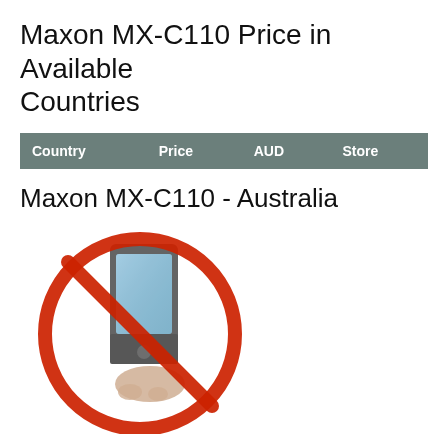Maxon MX-C110 Price in Available Countries
| Country | Price | AUD | Store |
| --- | --- | --- | --- |
Maxon MX-C110 - Australia
[Figure (photo): A smartphone or handheld device with a red prohibition circle/slash symbol overlaid on it, indicating unavailability in Australia.]